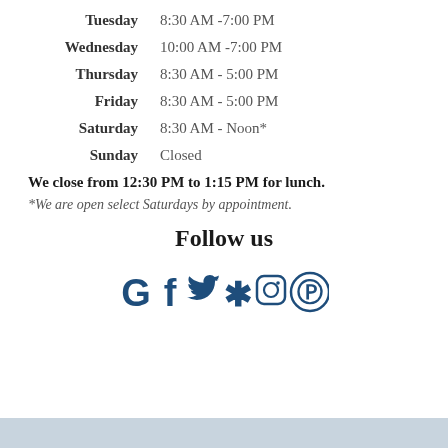Tuesday   8:30 AM -7:00 PM
Wednesday   10:00 AM -7:00 PM
Thursday   8:30 AM - 5:00 PM
Friday   8:30 AM - 5:00 PM
Saturday   8:30 AM - Noon*
Sunday   Closed
We close from 12:30 PM to 1:15 PM for lunch.
*We are open select Saturdays by appointment.
Follow us
[Figure (infographic): Social media icons row: Google, Facebook, Twitter, Yelp, Instagram, Pinterest — all in dark blue color]